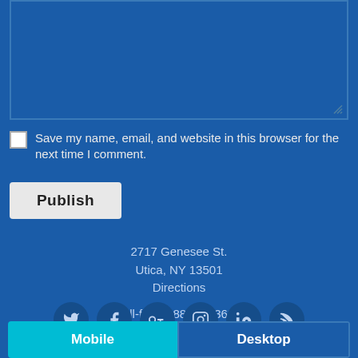[Figure (screenshot): Blue textarea input box with resize handle at bottom right]
Save my name, email, and website in this browser for the next time I comment.
Publish
2717 Genesee St.
Utica, NY 13501
Directions
Toll-free: 888-387-3625
[Figure (infographic): Row of 6 social media icons: Twitter, Facebook, Google+, Instagram, LinkedIn, RSS]
Powered by
WPtouch Mobile Suite for WordPress
Mobile    Desktop